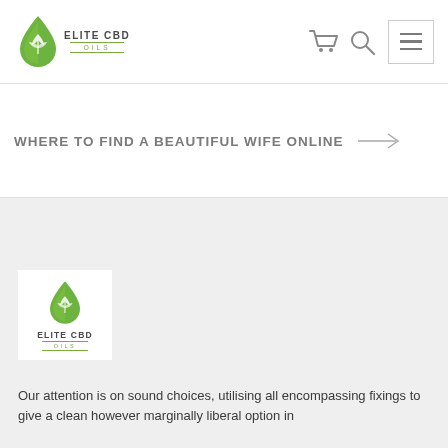[Figure (logo): Elite CBD Oils logo — green cannabis leaf droplet icon with ELITE CBD text and OILS subtitle in green]
WHERE TO FIND A BEAUTIFUL WIFE ONLINE
[Figure (logo): Elite CBD Oils logo smaller version in white box on gray background]
Our attention is on sound choices, utilising all encompassing fixings to give a clean however marginally liberal option in